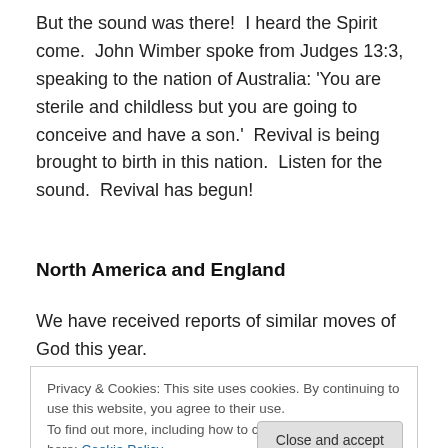But the sound was there!  I heard the Spirit come.  John Wimber spoke from Judges 13:3, speaking to the nation of Australia: 'You are sterile and childless but you are going to conceive and have a son.'  Revival is being brought to birth in this nation.  Listen for the sound.  Revival has begun!
North America and England
We have received reports of similar moves of God this year.
Privacy & Cookies: This site uses cookies. By continuing to use this website, you agree to their use.
To find out more, including how to control cookies, see here: Cookie Policy
the Spirit.  Many exhibit laughing and drunken behaviour.